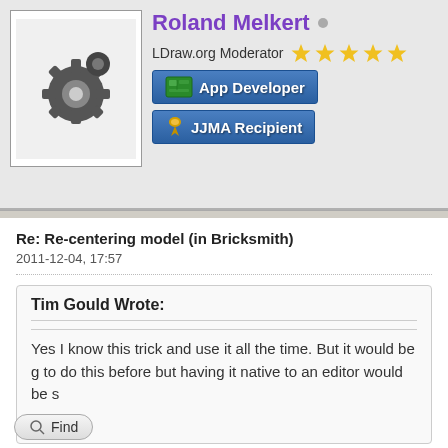[Figure (photo): Avatar/profile picture of Roland Melkert showing gear/cog icon]
Roland Melkert ●
LDraw.org Moderator ★★★★★
[Figure (infographic): App Developer badge with circuit board icon]
[Figure (infographic): JJMA Recipient badge with trophy icon]
Re: Re-centering model (in Bricksmith)
2011-12-04, 17:57
Tim Gould Wrote:
Yes I know this trick and use it all the time. But it would be g to do this before but having it native to an editor would be s
Tim
In LDCad you can use the part property dialog (enter key) wh (main part) but all others in the selection will move relatively
Or do you mean something like mlcad's 'ROTATION CENTE
Find